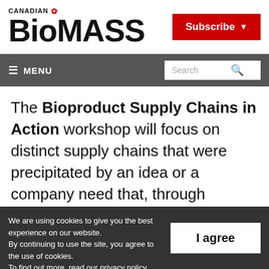[Figure (logo): Canadian Biomass magazine logo with red maple leaf and bold BIOMASS wordmark]
[Figure (screenshot): Red Subscribe button with dropdown arrow]
≡ MENU   Search
The Bioproduct Supply Chains in Action workshop will focus on distinct supply chains that were precipitated by an idea or a company need that, through collaboration and strategic support from industry and
We are using cookies to give you the best experience on our website. By continuing to use the site, you agree to the use of cookies. To find out more, read our privacy policy.